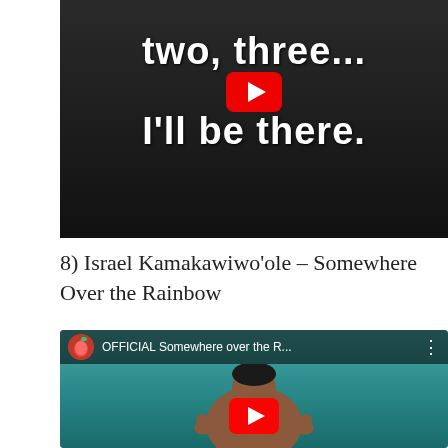[Figure (screenshot): YouTube video thumbnail showing black and white scene with text 'two, three... I'll be there.' and YouTube play button overlay]
8) Israel Kamakawiwo'ole – Somewhere Over the Rainbow
[Figure (screenshot): YouTube video thumbnail for 'OFFICIAL Somewhere over the R...' showing a large man in a pool giving thumbs up, with YouTube play button overlay]